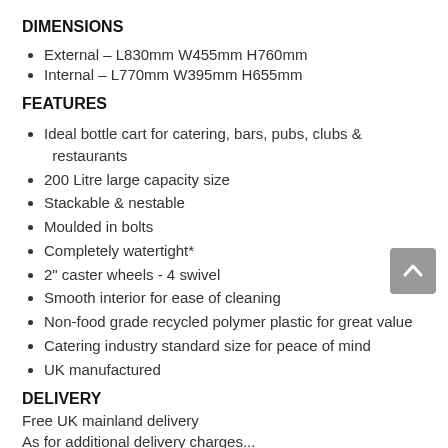DIMENSIONS
External – L830mm W455mm H760mm
Internal – L770mm W395mm H655mm
FEATURES
Ideal bottle cart for catering, bars, pubs, clubs & restaurants
200 Litre large capacity size
Stackable & nestable
Moulded in bolts
Completely watertight*
2" caster wheels - 4 swivel
Smooth interior for ease of cleaning
Non-food grade recycled polymer plastic for great value
Catering industry standard size for peace of mind
UK manufactured
DELIVERY
Free UK mainland delivery
As for additional delivery charges...